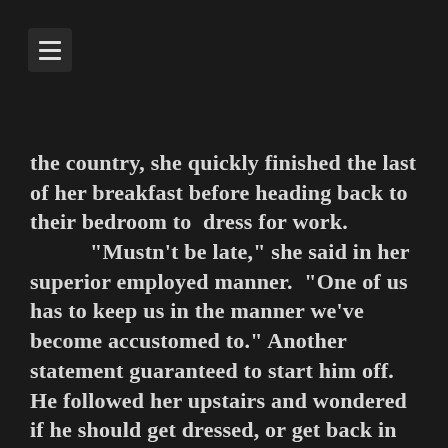[Figure (other): Hamburger menu icon button in top-left corner]
the country, she quickly finished the last of her breakfast before heading back to their bedroom to  dress for work.
	"Mustn't be late," she said in her superior employed manner.  "One of us has to keep us in the manner we've become accustomed to." Another statement guaranteed to start him off.
He followed her upstairs and wondered if he should get dressed, or get back in bed. Not a lot of reason to rush. For the moment, he thought, he would lay on top of the bed and enjoy the view as his wife stood naked in front of her full-length wardrobe mirror, looking for who knows what, stretching and